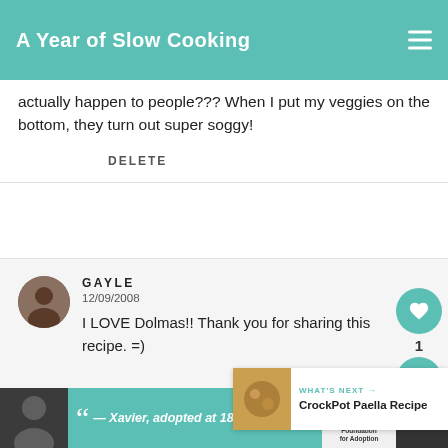A Year of Slow Cooking
actually happen to people??? When I put my veggies on the bottom, they turn out super soggy!
DELETE
GAYLE
12/09/2008
I LOVE Dolmas!! Thank you for sharing this recipe. =)
[Figure (other): What's next promo box: CrockPot Paella Recipe with food thumbnail]
[Figure (other): Advertisement banner: Xavier, adopted at 18 - Dave Thomas Foundation for Adoption]